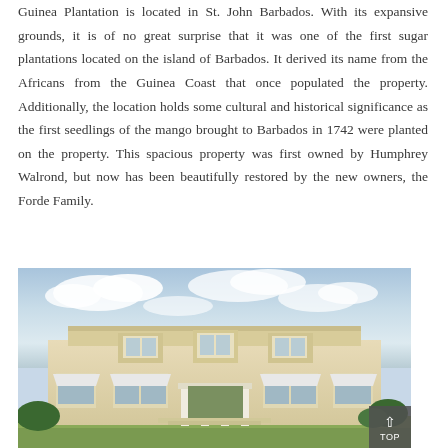Guinea Plantation is located in St. John Barbados. With its expansive grounds, it is of no great surprise that it was one of the first sugar plantations located on the island of Barbados. It derived its name from the Africans from the Guinea Coast that once populated the property. Additionally, the location holds some cultural and historical significance as the first seedlings of the mango brought to Barbados in 1742 were planted on the property. This spacious property was first owned by Humphrey Walrond, but now has been beautifully restored by the new owners, the Forde Family.
[Figure (photo): Exterior photograph of Guinea Plantation house in Barbados — a large cream/pale yellow colonial-style two-storey building with white columns, shuttered windows with white awnings, set against a partly cloudy sky with tropical vegetation visible.]